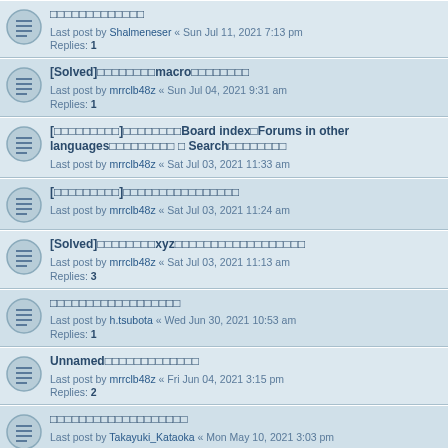□□□□□□□□□□□□□ Last post by Shalmeneser « Sun Jul 11, 2021 7:13 pm Replies: 1
[Solved]□□□□□□□□macro□□□□□□□□ Last post by mrrclb48z « Sun Jul 04, 2021 9:31 am Replies: 1
[□□□□□□□□□]□□□□□□□□Board index□Forums in other languages□□□□□□□□□ Search□□□□□□□□ Last post by mrrclb48z « Sat Jul 03, 2021 11:33 am
[□□□□□□□□□]□□□□□□□□□□□□□□□□ Last post by mrrclb48z « Sat Jul 03, 2021 11:24 am
[Solved]□□□□□□□□xyz□□□□□□□□□□□□□□□□□□ Last post by mrrclb48z « Sat Jul 03, 2021 11:13 am Replies: 3
□□□□□□□□□□□□□□□□□□ Last post by h.tsubota « Wed Jun 30, 2021 10:53 am Replies: 1
Unnamed□□□□□□□□□□□□□ Last post by mrrclb48z « Fri Jun 04, 2021 3:15 pm Replies: 2
□□□□□□□□□□□□□□□□□□□ Last post by Takayuki_Kataoka « Mon May 10, 2021 3:03 pm
asc□□□□□□□□□□□□□□□ Last post by Takayuki_Kataoka « Tue Apr 27, 2021 1:47 pm Replies: 4
□□□□□□